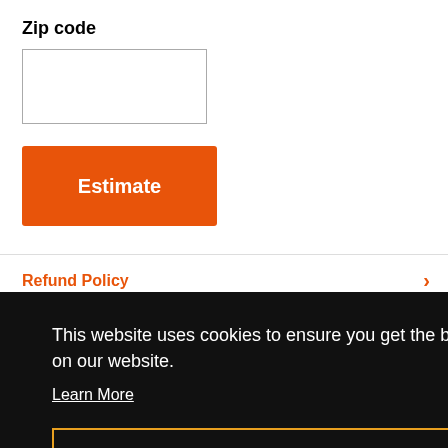Zip code
Estimate
Refund Policy
This website uses cookies to ensure you get the best experience on our website.
Learn More
Got it!
[Figure (photo): Two partial thumbnail images at bottom of page: left shows a dark night sky/mountain scene, right shows a purple-toned cosmic/sky scene.]